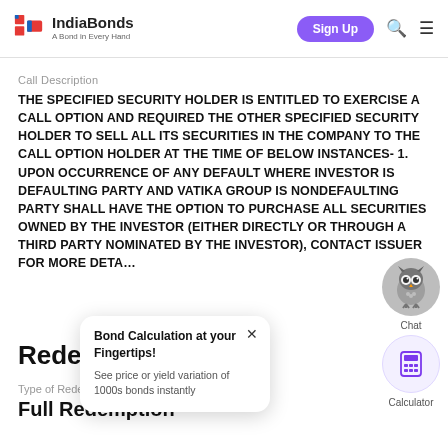IndiaBonds — A Bond in Every Hand | Sign Up
Call Description
THE SPECIFIED SECURITY HOLDER IS ENTITLED TO EXERCISE A CALL OPTION AND REQUIRED THE OTHER SPECIFIED SECURITY HOLDER TO SELL ALL ITS SECURITIES IN THE COMPANY TO THE CALL OPTION HOLDER AT THE TIME OF BELOW INSTANCES- 1. UPON OCCURRENCE OF ANY DEFAULT WHERE INVESTOR IS DEFAULTING PARTY AND VATIKA GROUP IS NONDEFAULTING PARTY SHALL HAVE THE OPTION TO PURCHASE ALL SECURITIES OWNED BY THE INVESTOR (EITHER DIRECTLY OR THROUGH A THIRD PARTY NOMINATED BY THE INVESTOR), CONTACT ISSUER FOR MORE DETAILS
Redemption
Type of Redemption
Full Redemption
[Figure (other): Popup tooltip: Bond Calculation at your Fingertips! See price or yield variation of 1000s bonds instantly]
[Figure (other): Chat widget with owl icon and calculator icon]